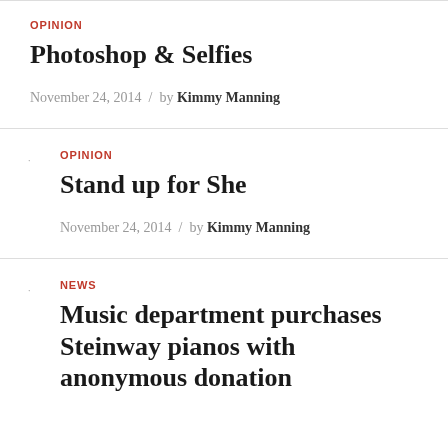OPINION
Photoshop & Selfies
November 24, 2014 / by Kimmy Manning
OPINION
Stand up for She
November 24, 2014 / by Kimmy Manning
NEWS
Music department purchases Steinway pianos with anonymous donation